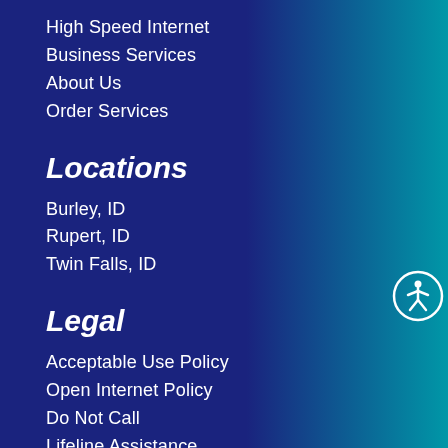High Speed Internet
Business Services
About Us
Order Services
Locations
Burley, ID
Rupert, ID
Twin Falls, ID
Legal
Acceptable Use Policy
Open Internet Policy
Do Not Call
Lifeline Assistance
Privacy Policy
[Figure (illustration): Accessibility icon: white circle with a stick figure person with arms and legs spread, indicating accessibility support]